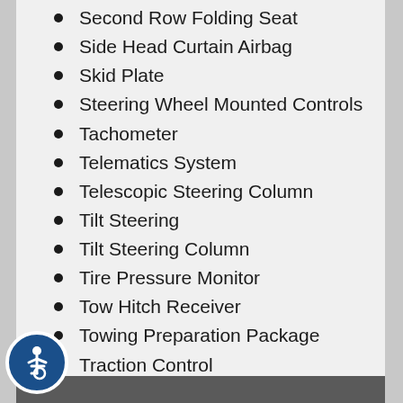Second Row Folding Seat
Side Head Curtain Airbag
Skid Plate
Steering Wheel Mounted Controls
Tachometer
Telematics System
Telescopic Steering Column
Tilt Steering
Tilt Steering Column
Tire Pressure Monitor
Tow Hitch Receiver
Towing Preparation Package
Traction Control
Trip Computer
Vehicle Anti-Theft
Vehicle Stability Control System
[Figure (illustration): Accessibility/wheelchair icon button, circular blue button with white wheelchair symbol]